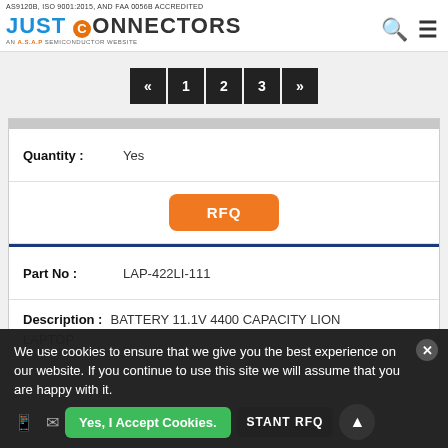AS9120B, ISO 9001:2015, AND FAA 0056B ACCREDITED
[Figure (logo): Just Connectors logo - AN A.S.A.P SEMICONDUCTOR WEBSITE]
« 1 2 3 »
| Quantity : | Yes |
| --- | --- |
RFQ
| Part No : | LAP-422LI-111 |
| --- | --- |
| Description : | BATTERY 11.1V 4400 CAPACITY LION LAPTOP |
We use cookies to ensure that we give you the best experience on our website. If you continue to use this site we will assume that you are happy with it.